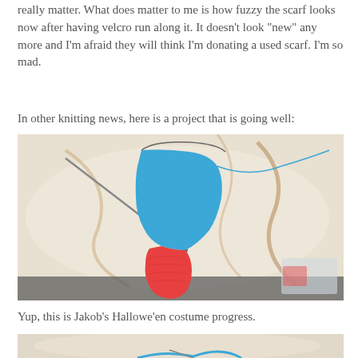really matter. What does matter to me is how fuzzy the scarf looks now after having velcro run along it. It doesn’t look “new” any more and I’m afraid they will think I’m donating a used scarf. I’m so mad.
In other knitting news, here is a project that is going well:
[Figure (photo): A knitting project in progress on a marble surface, showing a blue knitted piece shaped like a stocking/boot top with a red knitted section at the bottom, with knitting needles visible.]
Yup, this is Jakob’s Hallowe’en costume progress.
[Figure (photo): Partial view of another knitting project, showing blue yarn being knitted, partially cropped at the bottom of the page.]